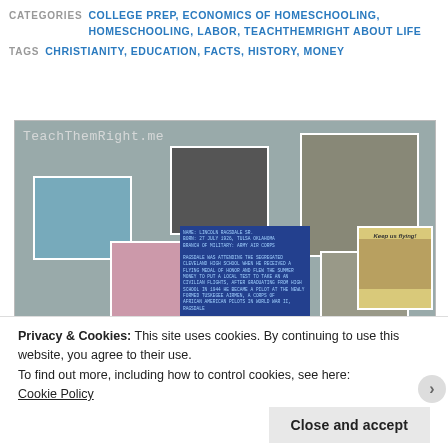CATEGORIES: COLLEGE PREP, ECONOMICS OF HOMESCHOOLING, HOMESCHOOLING, LABOR, TEACHTHEMRIGHT ABOUT LIFE
TAGS: CHRISTIANITY, EDUCATION, FACTS, HISTORY, MONEY
[Figure (photo): Museum or exhibition board display with multiple photographs and an informational placard about aviation history, watermarked with TeachThemRight.me]
Privacy & Cookies: This site uses cookies. By continuing to use this website, you agree to their use.
To find out more, including how to control cookies, see here:
Cookie Policy
Close and accept